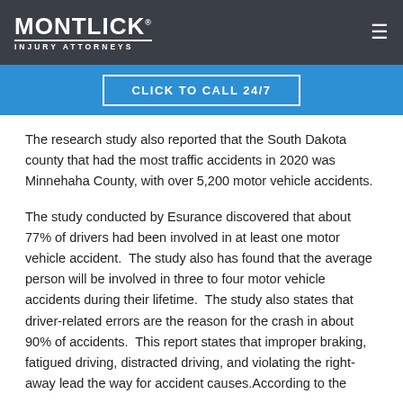MONTLICK INJURY ATTORNEYS
CLICK TO CALL 24/7
The research study also reported that the South Dakota county that had the most traffic accidents in 2020 was Minnehaha County, with over 5,200 motor vehicle accidents.
The study conducted by Esurance discovered that about 77% of drivers had been involved in at least one motor vehicle accident.  The study also has found that the average person will be involved in three to four motor vehicle accidents during their lifetime.  The study also states that driver-related errors are the reason for the crash in about 90% of accidents.  This report states that improper braking, fatigued driving, distracted driving, and violating the right-away lead the way for accident causes. According to the